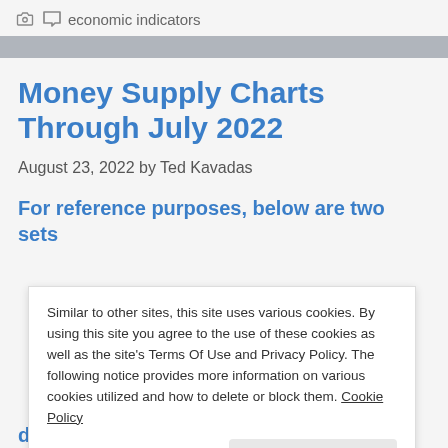economic indicators
Money Supply Charts Through July 2022
August 23, 2022 by Ted Kavadas
For reference purposes, below are two sets
Similar to other sites, this site uses various cookies. By using this site you agree to the use of these cookies as well as the site's Terms Of Use and Privacy Policy. The following notice provides more information on various cookies utilized and how to delete or block them. Cookie Policy
deposits at commercial banks (excluding